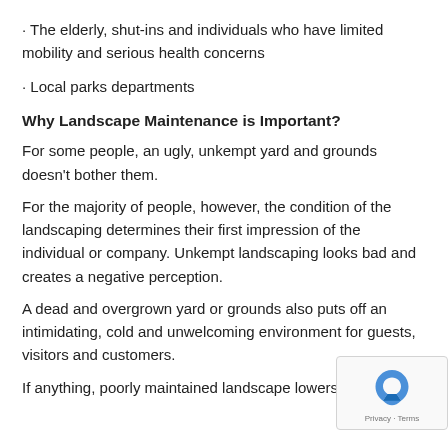· The elderly, shut-ins and individuals who have limited mobility and serious health concerns
· Local parks departments
Why Landscape Maintenance is Important?
For some people, an ugly, unkempt yard and grounds doesn't bother them.
For the majority of people, however, the condition of the landscaping determines their first impression of the individual or company. Unkempt landscaping looks bad and creates a negative perception.
A dead and overgrown yard or grounds also puts off an intimidating, cold and unwelcoming environment for guests, visitors and customers.
If anything, poorly maintained landscape lowers the property